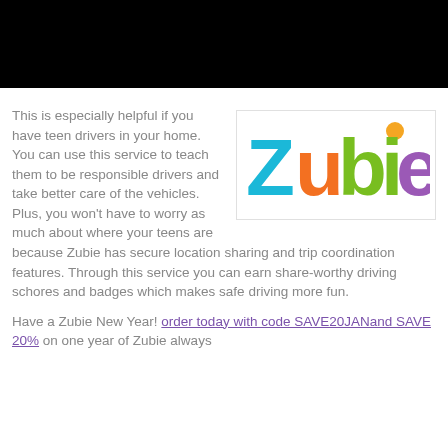[Figure (photo): Black bar / redacted image area at the top of the page]
This is especially helpful if you have teen drivers in your home. You can use this service to teach them to be responsible drivers and take better care of the vehicles. Plus, you won't have to worry as much about where your teens are because Zubie has secure location sharing and trip coordination features. Through this service you can earn share-worthy driving schores and badges which makes safe driving more fun.
[Figure (logo): Zubie logo with colorful letters: Z in cyan/blue, u in orange, b in green, i with orange dot, e in purple]
Have a Zubie New Year! order today with code SAVE20JANand SAVE 20% on one year of Zubie always